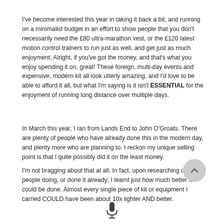I've become interested this year in taking it back a bit, and running on a minimalist budget in an effort to show people that you don't necessarily need the £80 ultra-marathon vest, or the £120 latest motion control trainers to run just as well, and get just as much enjoyment. Alright, if you've got the money, and that's what you enjoy spending it on, great! These foreign, multi-day events and expensive, modern kit all look utterly amazing, and I'd love to be able to afford it all, but what I'm saying is it isn't ESSENTIAL for the enjoyment of running long distance over multiple days.
In March this year, I ran from Lands End to John O'Groats. There are plenty of people who have already done this in the modern day, and plenty more who are planning to. I reckon my unique selling point is that I quite possibly did it on the least money.
I'm not bragging about that at all. In fact, upon researching other people doing, or done it already; I learnt just how much better it could be done. Almost every single piece of kit or equipment I carried COULD have been about 10x lighter AND better.